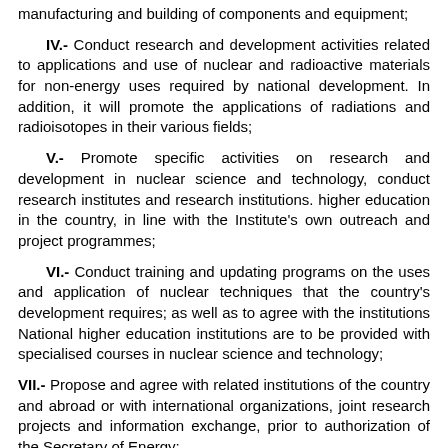manufacturing and building of components and equipment;
IV.- Conduct research and development activities related to applications and use of nuclear and radioactive materials for non-energy uses required by national development. In addition, it will promote the applications of radiations and radioisotopes in their various fields;
V.- Promote specific activities on research and development in nuclear science and technology, conduct research institutes and research institutions. higher education in the country, in line with the Institute's own outreach and project programmes;
VI.- Conduct training and updating programs on the uses and application of nuclear techniques that the country's development requires; as well as to agree with the institutions National higher education institutions are to be provided with specialised courses in nuclear science and technology;
VII.- Propose and agree with related institutions of the country and abroad or with international organizations, joint research projects and information exchange, prior to authorization of the Secretary of Energy;